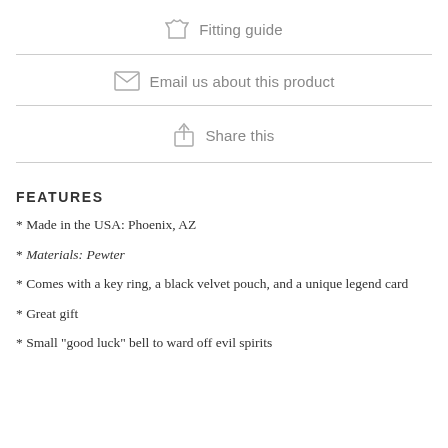Fitting guide
Email us about this product
Share this
FEATURES
* Made in the USA: Phoenix, AZ
* Materials: Pewter
* Comes with a key ring, a black velvet pouch, and a unique legend card
* Great gift
* Small "good luck" bell to ward off evil spirits